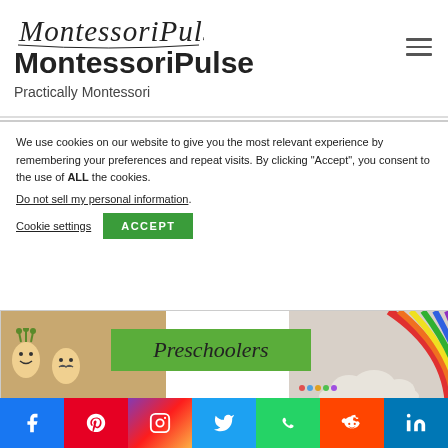[Figure (logo): MontessoriPulse script logo in cursive/italic style]
MontessoriPulse
Practically Montessori
We use cookies on our website to give you the most relevant experience by remembering your preferences and repeat visits. By clicking “Accept”, you consent to the use of ALL the cookies.
Do not sell my personal information.
Cookie settings   ACCEPT
[Figure (illustration): Preschoolers banner image with decorated egg characters on left, green banner reading 'Preschoolers' in center, rainbow craft image on right. Red Ted Art watermark in lower left.]
[Figure (infographic): Social media share bar with icons: Facebook (blue), Pinterest (red), Instagram (gradient), Twitter (light blue), WhatsApp (green), Reddit (orange), LinkedIn (blue)]